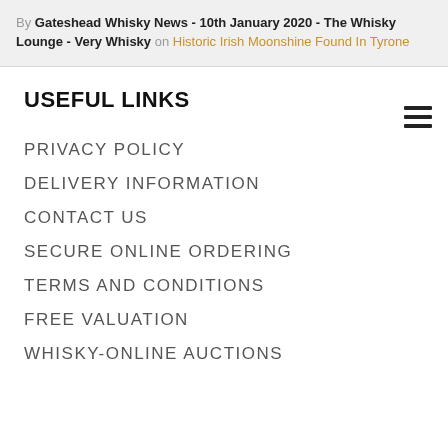By Gateshead Whisky News - 10th January 2020 - The Whisky Lounge - Very Whisky on Historic Irish Moonshine Found In Tyrone
USEFUL LINKS
PRIVACY POLICY
DELIVERY INFORMATION
CONTACT US
SECURE ONLINE ORDERING
TERMS AND CONDITIONS
FREE VALUATION
WHISKY-ONLINE AUCTIONS